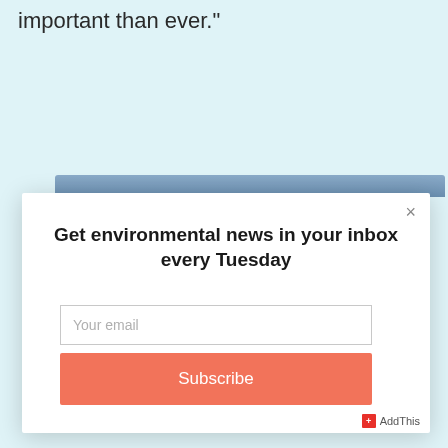important than ever."
[Figure (screenshot): A modal popup dialog with a close button (×), a bold heading 'Get environmental news in your inbox every Tuesday', an email input field with placeholder text 'Your email', and an orange Subscribe button. Below the modal is an AddThis badge in the bottom right corner.]